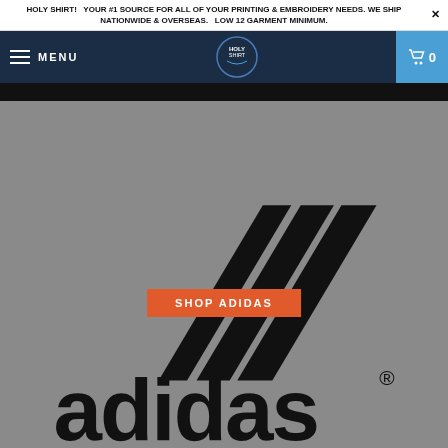HOLY SHIRT!   YOUR #1 SOURCE FOR ALL OF YOUR PRINTING & EMBROIDERY NEEDS. WE SHIP NATIONWIDE & OVERSEAS.   LOW 12 GARMENT MINIMUM.
[Figure (screenshot): Website navigation bar with dark navy background, hamburger menu icon and MENU text on left, Holy Shirt logo badge in center, and cart icon with 0 count on right in blue]
[Figure (logo): Adidas logo on grey background — three diagonal stripes (the Adidas mountain logo) in black above the lowercase 'adidas' wordmark with registered trademark symbol, and an orange 'SHOP ADIDAS' button overlaid in the center]